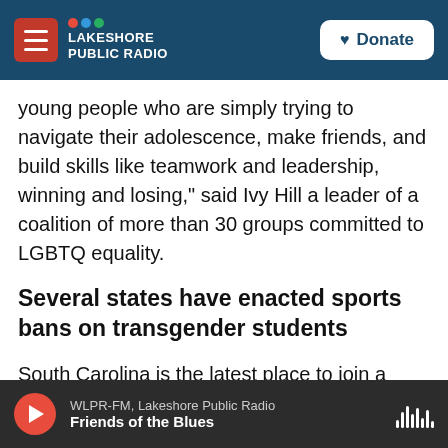NPR Lakeshore Public Radio — Donate
young people who are simply trying to navigate their adolescence, make friends, and build skills like teamwork and leadership, winning and losing," said Ivy Hill a leader of a coalition of more than 30 groups committed to LGBTQ equality.
Several states have enacted sports bans on transgender students
South Carolina is the latest place to join a growing group of mostly conservative states requiring transgender students to compete with the gender listed on their birth certificates. Governors in
WLPR-FM, Lakeshore Public Radio — Friends of the Blues